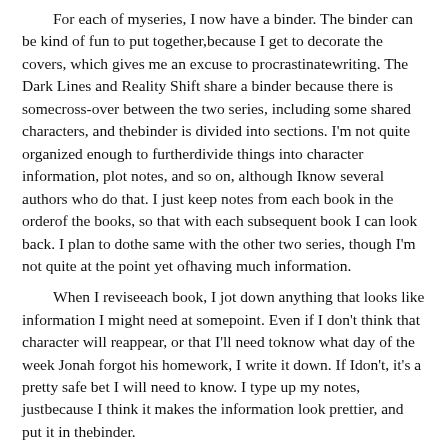For each of myseries, I now have a binder. The binder can be kind of fun to put together,because I get to decorate the covers, which gives me an excuse to procrastinatewriting. The Dark Lines and Reality Shift share a binder because there is somecross-over between the two series, including some shared characters, and thebinder is divided into sections. I'm not quite organized enough to furtherdivide things into character information, plot notes, and so on, although Iknow several authors who do that. I just keep notes from each book in the orderof the books, so that with each subsequent book I can look back. I plan to dothe same with the other two series, though I'm not quite at the point yet ofhaving much information.
When I reviseeach book, I jot down anything that looks like information I might need at somepoint. Even if I don't think that character will reappear, or that I'll need toknow what day of the week Jonah forgot his homework, I write it down. If Idon't, it's a pretty safe bet I will need to know. I type up my notes, justbecause I think it makes the information look prettier, and put it in thebinder.
I have atimeline, detailing what month and year